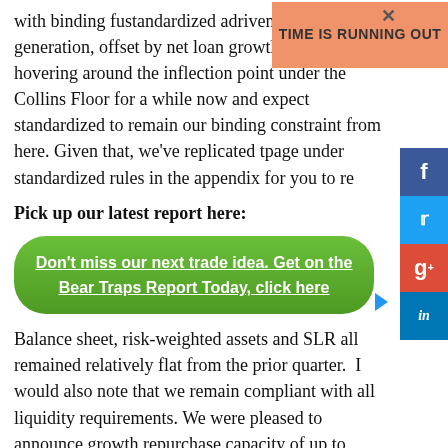with binding full standardized approach, driven by capital generation, offset by net loan growth. We've been hovering around the inflection point under the Collins Floor for a while now and expect standardized to remain our binding constraint from here. Given that, we've replicated the page under standardized rules in the appendix for you to reference.
[Figure (infographic): Orange banner overlay with text 'TIME IS RUNNING OUT' and a close (X) button]
Pick up our latest report here:
[Figure (infographic): Green rounded button with white underlined text: Don't miss our next trade idea. Get on the Bear Traps Report Today, click here]
Balance sheet, risk-weighted assets and SLR all remained relatively flat from the prior quarter.  I would also note that we remain compliant with all liquidity requirements. We were pleased to announce growth repurchase capacity of up to $19.4 billion over the next 4 quarters. And the board announced its intention to increase common stock dividends 12% to $0.56 a share effective in the third quarter. In addition